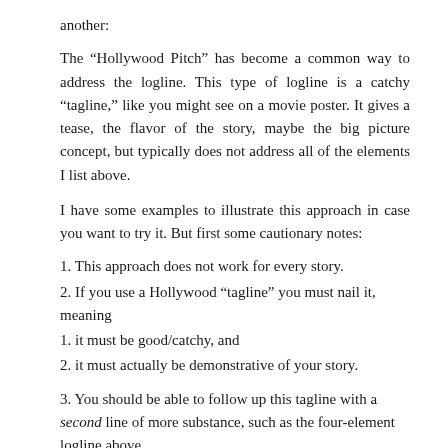another:
The “Hollywood Pitch” has become a common way to address the logline. This type of logline is a catchy “tagline,” like you might see on a movie poster. It gives a tease, the flavor of the story, maybe the big picture concept, but typically does not address all of the elements I list above.
I have some examples to illustrate this approach in case you want to try it. But first some cautionary notes:
1. This approach does not work for every story.
2. If you use a Hollywood “tagline” you must nail it, meaning
1. it must be good/catchy, and
2. it must actually be demonstrative of your story.
3. You should be able to follow up this tagline with a second line of more substance, such as the four-element logline above.
Types of Taglines: